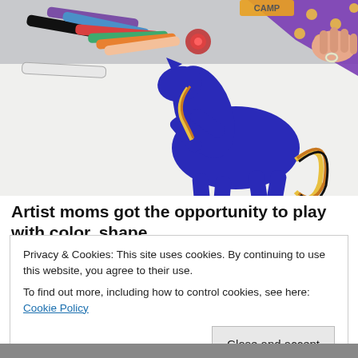[Figure (photo): Photo of markers/crayons scattered on a white table with a child's drawing of a blue rearing horse with yellow/brown mane, a purple polka-dot ribbon/flag, and colorful elements labeled CAMP. An adult hand with a ring is visible at upper right.]
Artist moms got the opportunity to play with color, shape,
Privacy & Cookies: This site uses cookies. By continuing to use this website, you agree to their use.
To find out more, including how to control cookies, see here: Cookie Policy